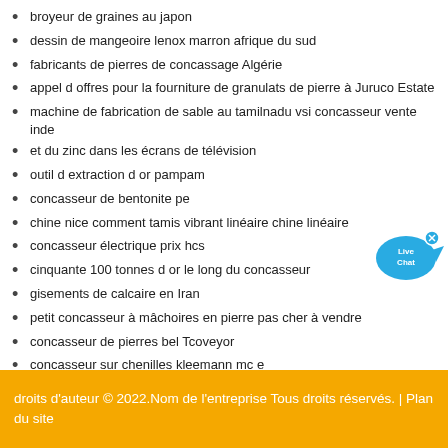broyeur de graines au japon
dessin de mangeoire lenox marron afrique du sud
fabricants de pierres de concassage Algérie
appel d offres pour la fourniture de granulats de pierre à Juruco Estate
machine de fabrication de sable au tamilnadu vsi concasseur vente inde
et du zinc dans les écrans de télévision
outil d extraction d or pampam
concasseur de bentonite pe
chine nice comment tamis vibrant linéaire chine linéaire
concasseur électrique prix hcs
cinquante 100 tonnes d or le long du concasseur
gisements de calcaire en Iran
petit concasseur à mâchoires en pierre pas cher à vendre
concasseur de pierres bel Tcoveyor
concasseur sur chenilles kleemann mc e
droits d'auteur © 2022.Nom de l'entreprise Tous droits réservés. | Plan du site